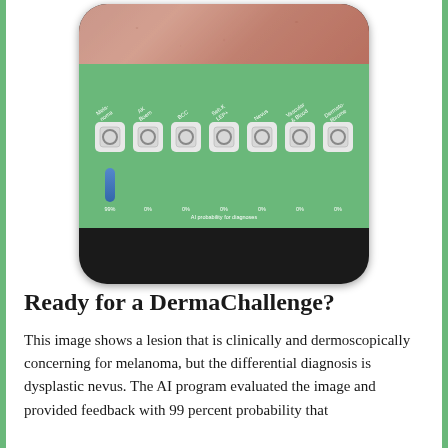[Figure (screenshot): Smartphone app screenshot showing a skin lesion dermoscopy image at top, followed by a green panel with category labels (Mela-noma, AK Boem, BCC, Seb.K LEP+, Nevus, Vascular & Blood, Dermato-fibrome), empty radio-button circles for each category, a blue probability bar for the first category, and percentage values (99%, 0%, 0%, 0%, 0%, 0%, 0%) with caption 'AI probability for diagnoses'.]
Ready for a DermaChallenge?
This image shows a lesion that is clinically and dermoscopically concerning for melanoma, but the differential diagnosis is dysplastic nevus. The AI program evaluated the image and provided feedback with 99 percent probability that